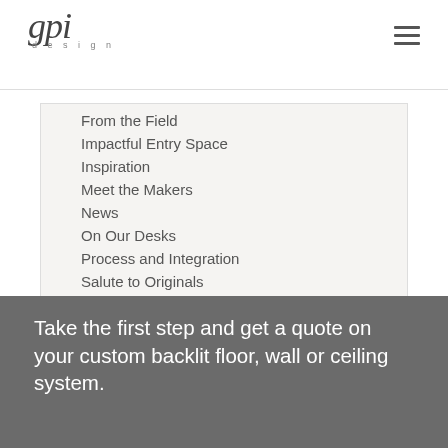gpi design
From the Field
Impactful Entry Space
Inspiration
Meet the Makers
News
On Our Desks
Process and Integration
Salute to Originals
Take the first step and get a quote on your custom backlit floor, wall or ceiling system.